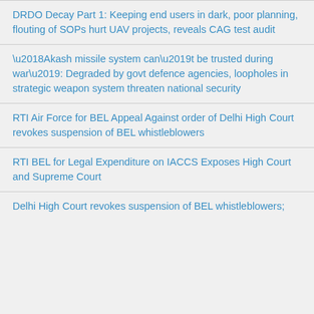DRDO Decay Part 1: Keeping end users in dark, poor planning, flouting of SOPs hurt UAV projects, reveals CAG test audit
‘Akash missile system can’t be trusted during war’: Degraded by govt defence agencies, loopholes in strategic weapon system threaten national security
RTI Air Force for BEL Appeal Against order of Delhi High Court revokes suspension of BEL whistleblowers
RTI BEL for Legal Expenditure on IACCS Exposes High Court and Supreme Court
Delhi High Court revokes suspension of BEL whistleblowers;